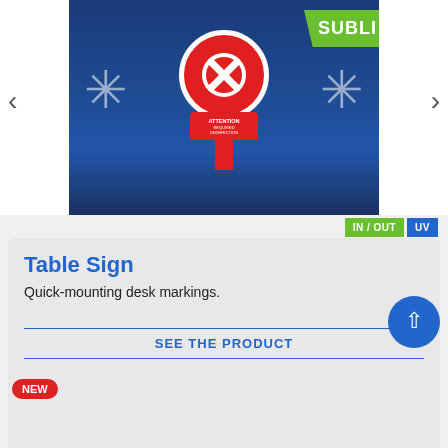[Figure (photo): Red table sign with white X circle and ATTENTION REQUIRED DISINFECTION text, displayed against a blue background with snowflake decorations and a green UV sublimation banner. Navigation arrows on left and right sides.]
IN / OUT
UV
Table Sign
Quick-mounting desk markings.
SEE THE PRODUCT
NEW